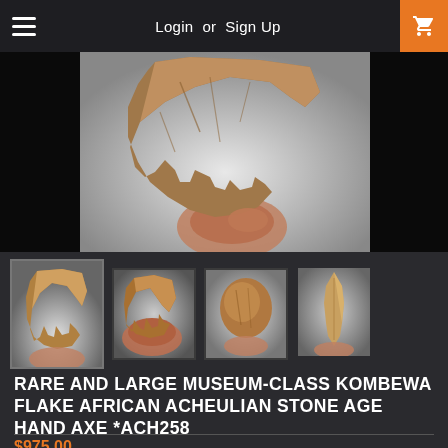Login  or  Sign Up
[Figure (photo): Close-up of a hand holding a large brown stone hand axe artifact against a light background]
[Figure (photo): Four thumbnail images of the same Kombewa flake African Acheulian stone age hand axe from different angles]
RARE AND LARGE MUSEUM-CLASS KOMBEWA FLAKE AFRICAN ACHEULIAN STONE AGE HAND AXE *ACH258
$975.00